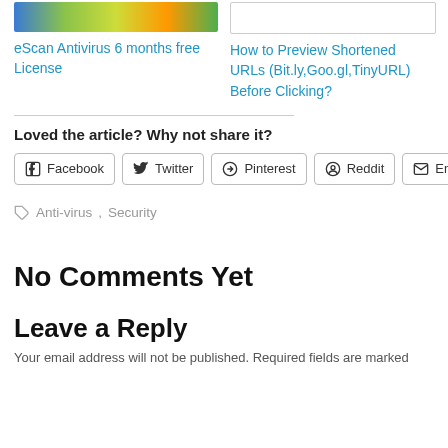eScan Antivirus 6 months free License
How to Preview Shortened URLs (Bit.ly,Goo.gl,TinyURL) Before Clicking?
Loved the article? Why not share it?
Facebook  Twitter  Pinterest  Reddit  Email
Anti-virus, Security
No Comments Yet
Leave a Reply
Your email address will not be published. Required fields are marked